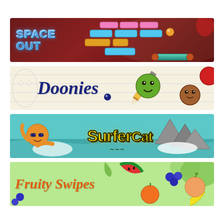[Figure (illustration): Space Out game banner: dark maroon background with retro-style brick/block game art showing colored bricks (pink, blue, gold) arranged in rows, an orange ball, and a teal paddle at bottom right. 'SPACE OUT' text in metallic blue chrome-style font on the left.]
[Figure (illustration): Doonies game banner: notebook/sketchbook style background with blue ruled lines and pencil sketch art. 'Doonies' in dark blue italic script font. Cartoon face balls characters: green smiling ball, brown ball, red ball. A sharpened pencil visible on right side.]
[Figure (illustration): Surfer Cat game banner: teal ocean background with 'Surfer Cat' in large yellow bold font with dark outline. A cartoon orange tiger/cat character surfing on left, rocky mountain/cliff on right with white clouds.]
[Figure (illustration): Fruity Swipes game banner: light green tropical background with 'Fruity Swipes' in orange italic script font. Various cartoon fruits visible: watermelon slice, orange, blueberries, peach, banana, and tropical foliage.]